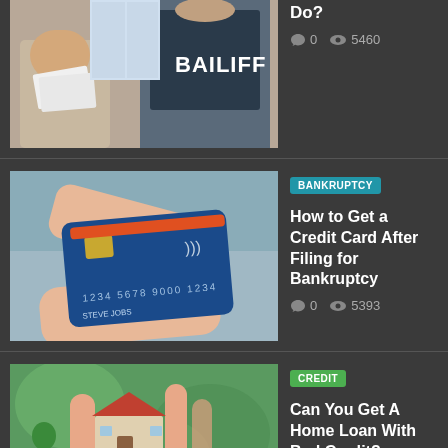[Figure (photo): Woman stressed with papers and a bailiff in dark jacket with BAILIFF text on back]
Do?
💬 0  👁 5460
[Figure (photo): Hands exchanging a blue credit card]
BANKRUPTCY
How to Get a Credit Card After Filing for Bankruptcy
💬 0  👁 5393
[Figure (photo): Hand holding a small house model between fingers against green background]
CREDIT
Can You Get A Home Loan With Bad Credit?